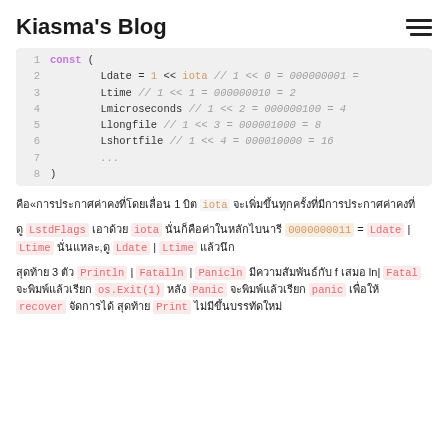Kiasma's Blog
[Figure (screenshot): Code block showing Go const iota declaration with Ldate, Ltime, Lmicroseconds, Llongfile, Lshortfile constants]
คือ«การประกาศค่าคงที่โดยเลื่อน 1 บิต iota จะเพิ่มขึ้นทุกครั้งที่มีการประกาศค่าคงที่
ดู LstdFlags เอาด้วย iota นั่นก็คือค่าในหลักไบนารี 0000000011 = Ldate | Ltime นั่นแหละ,ดู Ldate | Ltime แล้วนึก
สุดท้าย 3 ตัว Println | Fatalln | Panicln มีความสัมพันธ์กับ f เสมอ lnๆ Fatal จะพิมพ์แล้วเรียก os.Exit(1) หลัง Panic จะพิมพ์แล้วเรียก panic เพื่อให้ recover จัดการได้ สุดท้าย Print ไม่มีขึ้นบรรทัดใหม่